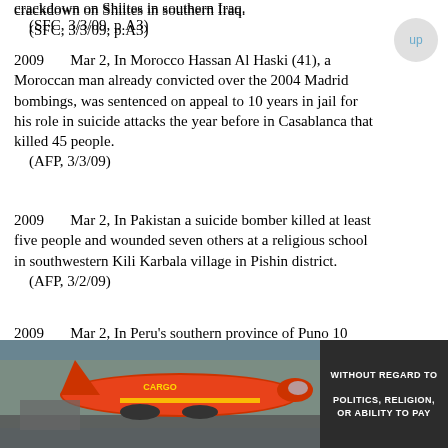crackdown on Shiites in southern Iraq.
    (SFC, 3/3/09, p.A3)
2009      Mar 2, In Morocco Hassan Al Haski (41), a Moroccan man already convicted over the 2004 Madrid bombings, was sentenced on appeal to 10 years in jail for his role in suicide attacks the year before in Casablanca that killed 45 people.
    (AFP, 3/3/09)
2009      Mar 2, In Pakistan a suicide bomber killed at least five people and wounded seven others at a religious school in southwestern Kili Karbala village in Pishin district.
    (AFP, 3/2/09)
2009      Mar 2, In Peru's southern province of Puno 10 people were killed dead and 16 left missing at a remote mining camp buried by a mudslide.
    (AP, 3/3/09)
2010      Mar 2, The Washington DC council voted to censure ex-mayor Marion Barry over a report accusing him of helping award a $15,000
[Figure (photo): Advertisement showing a cargo airplane with orange/red color scheme, with text 'WITHOUT REGARD TO POLITICS, RELIGION, OR ABILITY TO PAY' on dark background]